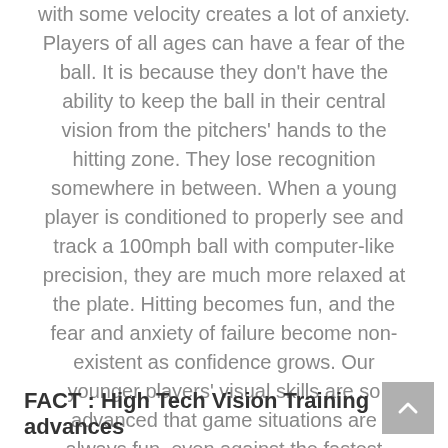with some velocity creates a lot of anxiety. Players of all ages can have a fear of the ball. It is because they don't have the ability to keep the ball in their central vision from the pitchers' hands to the hitting zone. They lose recognition somewhere in between. When a young player is conditioned to properly see and track a 100mph ball with computer-like precision, they are much more relaxed at the plate. Hitting becomes fun, and the fear and anxiety of failure become non-existent as confidence grows. Our younger players' visual skills are so advanced that game situations are always fun, even against the fastest pitchers.
FACT : High Tech Vision Training advances